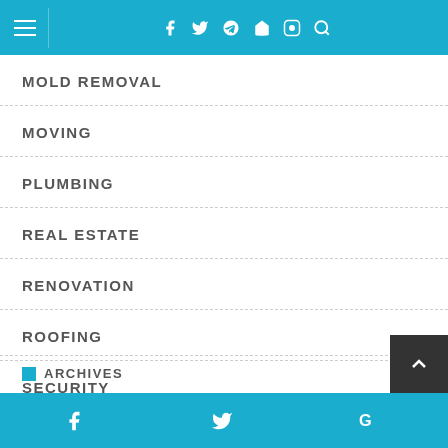Navigation menu header with hamburger icon and social media icons (Facebook, Twitter, Google+, Pinterest, Instagram, Search)
MOLD REMOVAL
MOVING
PLUMBING
REAL ESTATE
RENOVATION
ROOFING
SECURITY
STORAGE
ARCHIVES
Facebook  Twitter  Google+  [Back to top]